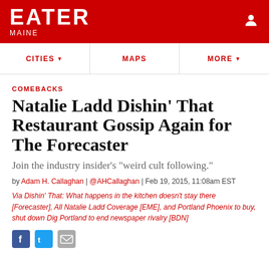EATER MAINE
CITIES MAPS MORE
COMEBACKS
Natalie Ladd Dishin' That Restaurant Gossip Again for The Forecaster
Join the industry insider's "weird cult following."
by Adam H. Callaghan | @AHCallaghan | Feb 19, 2015, 11:08am EST
Via Dishin' That: What happens in the kitchen doesn't stay there [Forecaster], All Natalie Ladd Coverage [EME], and Portland Phoenix to buy, shut down Dig Portland to end newspaper rivalry [BDN]
[Figure (other): Social sharing icons: Facebook, Twitter, Email]